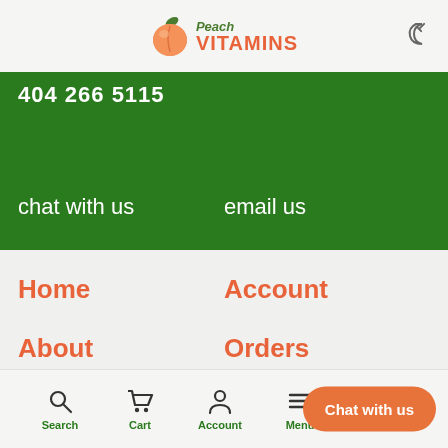Peach VITAMINS
404 266 5115
chat with us
email us
Home
Account
About
Orders
Blog
Returns
Support
Peach Club
Search  Cart  Account  Menu  Chat with us